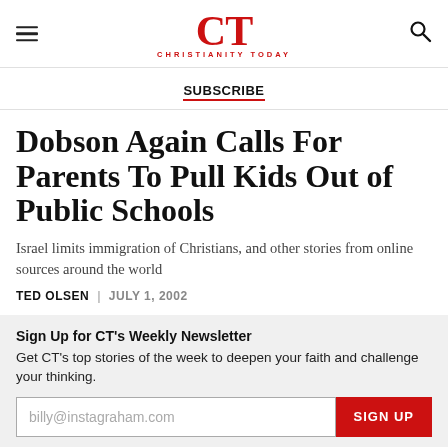CT CHRISTIANITY TODAY
SUBSCRIBE
Dobson Again Calls For Parents To Pull Kids Out of Public Schools
Israel limits immigration of Christians, and other stories from online sources around the world
TED OLSEN | JULY 1, 2002
Sign Up for CT's Weekly Newsletter
Get CT's top stories of the week to deepen your faith and challenge your thinking.
billy@instagraham.com  SIGN UP
This form is protected by reCAPTCHA and the Google Privacy Policy and Terms of Service apply.